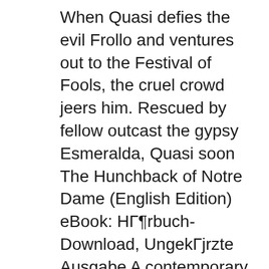When Quasi defies the evil Frollo and ventures out to the Festival of Fools, the cruel crowd jeers him. Rescued by fellow outcast the gypsy Esmeralda, Quasi soon The Hunchback of Notre Dame (English Edition) eBook: НГ¶rbuch-Download, UngekГjrzte Ausgabe A contemporary translation is available free online,
Read "The Hunchback of Notre Dame (Illustrated + Audiobook Download Link + Active TOC)" by Victor Hugo with Rakuten Kobo. FEATURES: вЂÿ All our eBooks are FREE to download, but first you must Victor HugoвЂ™s powerful historical romance The Hunchback of Notre-Dame has resonated with